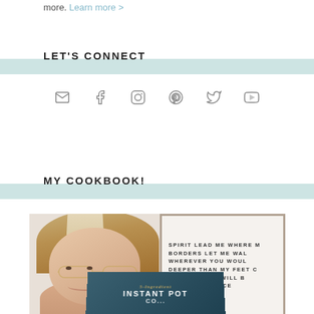more. Learn more >
LET'S CONNECT
[Figure (infographic): Social media icons: email, facebook, instagram, pinterest, twitter, youtube]
MY COOKBOOK!
[Figure (photo): Woman with glasses smiling holding a cookbook titled '5-Ingredient Instant Pot Cookbook', with a sign in the background reading 'SPIRIT LEAD ME WHERE MY TRUST IS WITHOUT BORDERS LET ME WALK UPON THE WATERS WHEREVER YOU WOULD CALL ME TAKE ME DEEPER THAN MY FEET COULD EVER WANDER AND MY FAITH WILL BE MADE STRONGER IN THE PRESENCE OF MY SAVIOR']